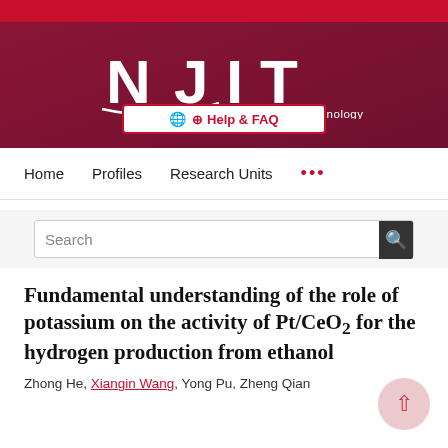[Figure (logo): NJIT New Jersey Institute of Technology logo and website header with red and dark burgundy background, Help & FAQ button]
Home   Profiles   Research Units   ...
Search
Fundamental understanding of the role of potassium on the activity of Pt/CeO2 for the hydrogen production from ethanol
Zhong He, Xiangin Wang, Yong Pu, Zheng Qian